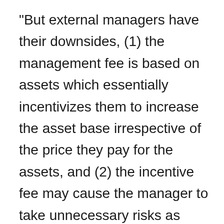“But external managers have their downsides, (1) the management fee is based on assets which essentially incentivizes them to increase the asset base irrespective of the price they pay for the assets, and (2) the incentive fee may cause the manager to take unnecessary risks as their payoff is skewed to the upside and they don’t participate equally in the downside.”